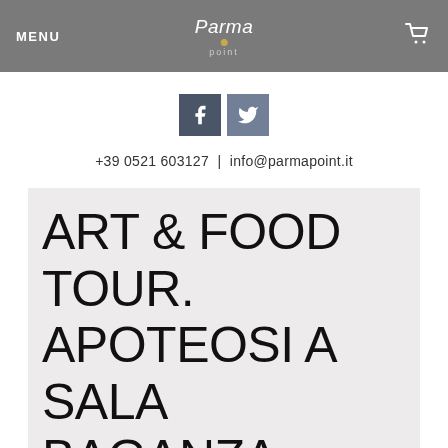MENU | Parma point | [cart icon]
[Figure (logo): Facebook and Twitter social media icons]
+39 0521 603127  |  info@parmapoint.it
ART & FOOD TOUR. APOTEOSI A SALA BAGANZA. PARMA